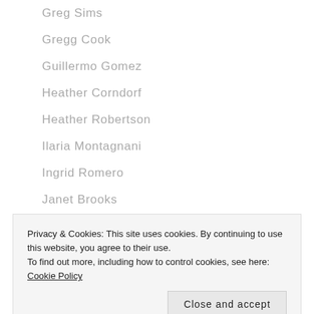Greg Sims
Gregg Cook
Guillermo Gomez
Heather Corndorf
Heather Robertson
Ilaria Montagnani
Ingrid Romero
Janet Brooks
Jari Love
Privacy & Cookies: This site uses cookies. By continuing to use this website, you agree to their use.
To find out more, including how to control cookies, see here: Cookie Policy
Jeremy Sonkins